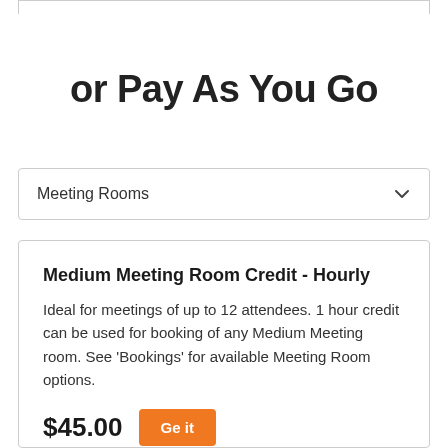or Pay As You Go
Meeting Rooms
Medium Meeting Room Credit - Hourly
Ideal for meetings of up to 12 attendees. 1 hour credit can be used for booking of any Medium Meeting room. See 'Bookings' for available Meeting Room options.
$45.00